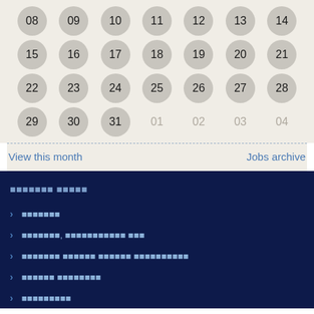[Figure (other): Calendar widget showing days 08-31 with inactive days 01-04, arranged in a 7-column grid with circular day cells on a beige background]
View this month
Jobs archive
XXXXXXX XXXXX
> XXXXXXX
> XXXXXXX, XXXXXXXXXXX XXX
> XXXXXXX XXXXXX XXXXXX XXXXXXXXXX
> XXXXXX XXXXXXXX
> XXXXXXXXX